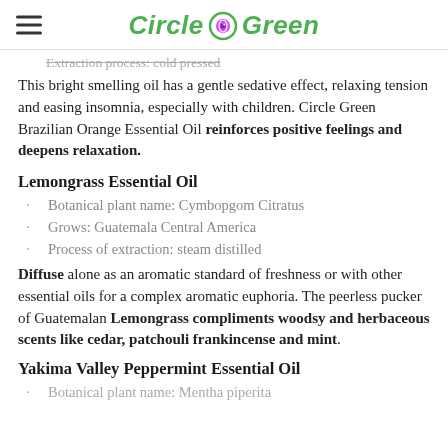Circle Green
Extraction process: cold pressed
This bright smelling oil has a gentle sedative effect, relaxing tension and easing insomnia, especially with children. Circle Green Brazilian Orange Essential Oil reinforces positive feelings and deepens relaxation.
Lemongrass Essential Oil
Botanical plant name: Cymbopgom Citratus
Grows: Guatemala Central America
Process of extraction: steam distilled
Diffuse alone as an aromatic standard of freshness or with other essential oils for a complex aromatic euphoria. The peerless pucker of Guatemalan Lemongrass compliments woodsy and herbaceous scents like cedar, patchouli frankincense and mint.
Yakima Valley Peppermint Essential Oil
Botanical plant name: Mentha piperita